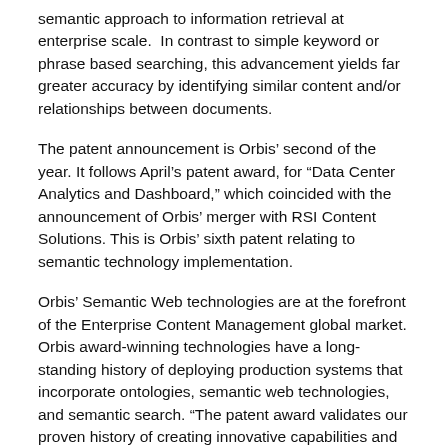semantic approach to information retrieval at enterprise scale. In contrast to simple keyword or phrase based searching, this advancement yields far greater accuracy by identifying similar content and/or relationships between documents.
The patent announcement is Orbis’ second of the year. It follows April’s patent award, for “Data Center Analytics and Dashboard,” which coincided with the announcement of Orbis’ merger with RSI Content Solutions. This is Orbis’ sixth patent relating to semantic technology implementation.
Orbis’ Semantic Web technologies are at the forefront of the Enterprise Content Management global market. Orbis award-winning technologies have a long-standing history of deploying production systems that incorporate ontologies, semantic web technologies, and semantic search. “The patent award validates our proven history of creating innovative capabilities and products that support the Enterprise Content Management across a wide range of markets – Defense Intelligence, Publishing,